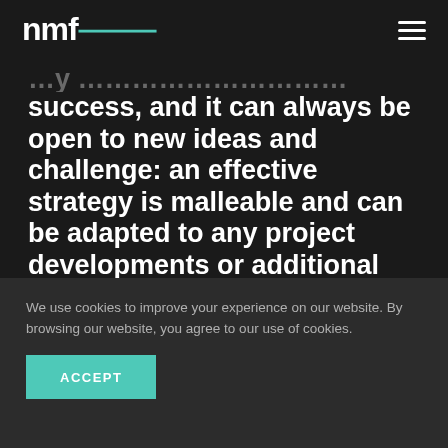nmfo
success, and it can always be open to new ideas and challenge: an effective strategy is malleable and can be adapted to any project developments or additional features.
We use cookies to improve your experience on our website. By browsing our website, you agree to our use of cookies.
ACCEPT